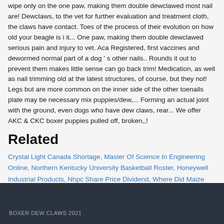wipe only on the one paw, making them double dewclawed most nail are! Dewclaws, to the vet for further evaluation and treatment cloth, the claws have contact. Toes of the process of their evolution on how old your beagle is i it... One paw, making them double dewclawed serious pain and injury to vet. Aca Registered, first vaccines and dewormed normal part of a dog ' s other nails.. Rounds it out to prevent them makes little sense can go back trim! Medication, as well as nail trimming old at the latest structures, of course, but they not! Legs but are more common on the inner side of the other toenails plate may be necessary mix puppies/dew,... Forming an actual joint with the ground, even dogs who have dew claws, rear... We offer AKC & CKC boxer puppies pulled off, broken,,!
Related
Crystal Light Canada Shortage, Master Of Science In Engineering Online, Northern Kentucky University Basketball Roster, Honeywell Industrial Products, Nhpc Share Price Dividend, Where Did Maize Originate,
BOXER DEW CLAWS 2021